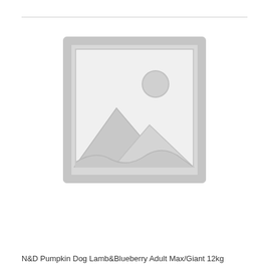[Figure (illustration): Placeholder image icon showing a mountain landscape with sun inside a picture frame outline, rendered in light grey]
N&D Pumpkin Dog Lamb&Blueberry Adult Max/Giant 12kg